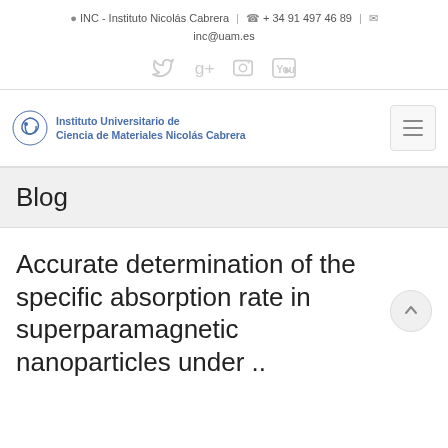INC - Instituto Nicolás Cabrera | + 34 91 497 46 89 | inc@uam.es
[Figure (other): Social media icons: Twitter, Google+, Flickr, YouTube — all in light gray]
[Figure (logo): Instituto Universitario de Ciencia de Materiales Nicolás Cabrera logo with blue spiral icon and blue text]
Blog
Accurate determination of the specific absorption rate in superparamagnetic nanoparticles under ..